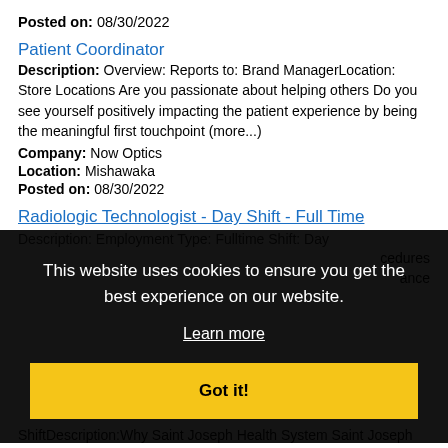Posted on: 08/30/2022
Patient Coordinator
Description: Overview: Reports to: Brand ManagerLocation: Store Locations Are you passionate about helping others Do you see yourself positively impacting the patient experience by being the meaningful first touchpoint (more...)
Company: Now Optics
Location: Mishawaka
Posted on: 08/30/2022
Radiologic Technologist - Day Shift - Full Time
Description: Employment Type: Fulltime Shift: Day...
[Figure (screenshot): Cookie consent overlay with black background. Text reads: 'This website uses cookies to ensure you get the best experience on our website.' with a 'Learn more' link and a yellow 'Got it!' button.]
ShiftDescription:Why Saint Joseph Health System Saint Joseph